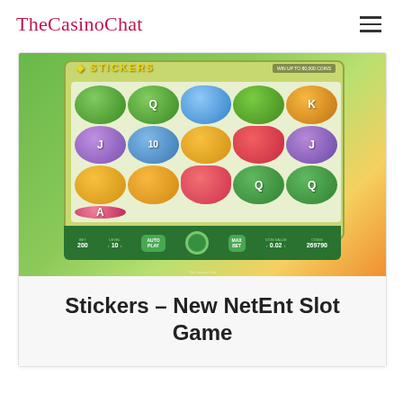TheCasinoChat
[Figure (screenshot): Screenshot of the Stickers slot game by NetEnt, showing a 5x3 reel grid with colorful fruit and card symbols (Q, blue plum, kiwi, K, J, 10, orange, strawberry, J, orange, orange, strawberry, Q, Q, A), a green background with WIN UP TO 80,000 COINS header, and game controls at the bottom (BET 200, LEVEL 10, AUTO PLAY, spin button, MAX BET, COIN VALUE 0.02, COINS 269790)]
Stickers – New NetEnt Slot Game